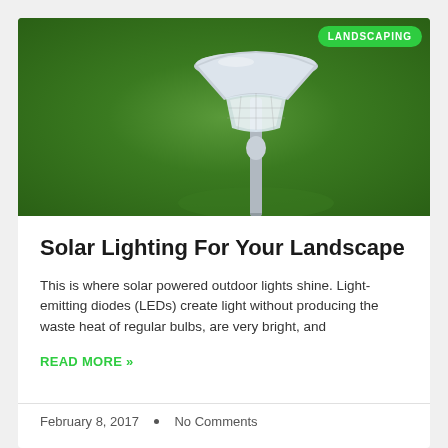[Figure (photo): Photo of a solar garden light stake in lush green grass with a LANDSCAPING badge in the top right corner]
Solar Lighting For Your Landscape
This is where solar powered outdoor lights shine. Light-emitting diodes (LEDs) create light without producing the waste heat of regular bulbs, are very bright, and
READ MORE »
February 8, 2017  •  No Comments